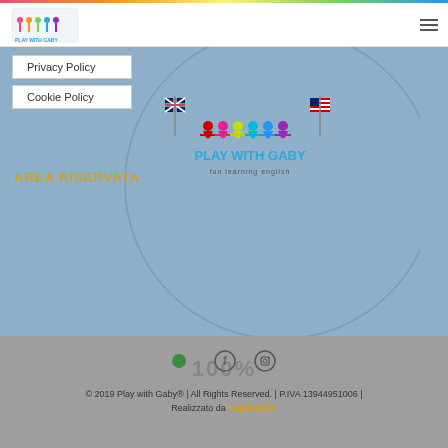[Figure (logo): Play With Gaby logo - colorful children figures holding flags, text 'PLAY WITH GABY fun learning english']
Privacy Policy
Cookie Policy
AREA RISERVATA
[Figure (logo): Play With Gaby logo centered in main area with large decorative circle]
© 2019 Play with Gaby® | All Rights Reserved. | P.IVA 13944951006 | Realizzato da Papestudio